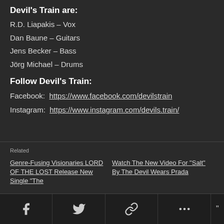Devil's Train are:
R.D. Liapakis – Vox
Dan Baune – Guitars
Jens Becker – Bass
Jörg Michael – Drums
Follow Devil's Train:
Facebook: https://www.facebook.com/devilstrain
Instagram: https://www.instagram.com/devils.train/
Related
Genre-Fusing Visionaries LORD OF THE LOST Release New Single “The
Watch The New Video For “Salt” By The Devil Wears Prada